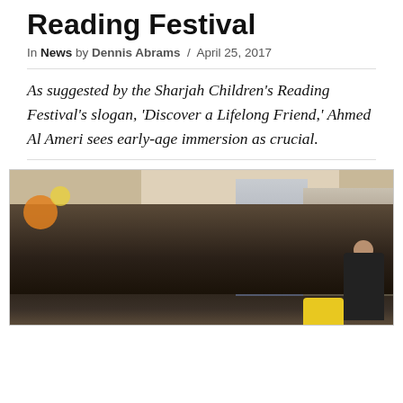Reading Festival
In News by Dennis Abrams / April 25, 2017
As suggested by the Sharjah Children's Reading Festival's slogan, 'Discover a Lifelong Friend,' Ahmed Al Ameri sees early-age immersion as crucial.
[Figure (photo): Large crowd of children and adults seated on the floor inside a festival hall, with a presenter at a booth on the right side and decorated exhibition stands in the background.]